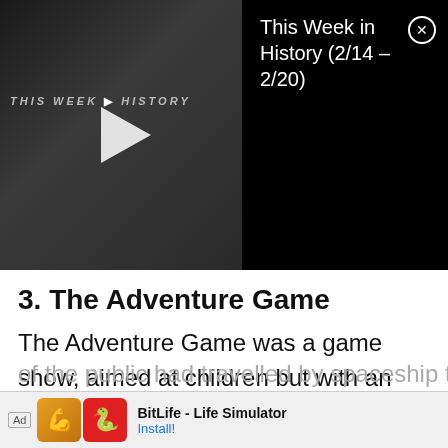[Figure (screenshot): Video thumbnail showing 'This Week in History' text with a play button on a dark background, next to a black panel showing the title 'This Week in History (2/14 - 2/20)' with a close button]
3. The Adventure Game
The Adventure Game was a game show, aimed at children but with an adult following, which was originally broadcast on UK television channels BBC1 and BBC2 between 24 May 1980 and 18 February 1986. The story in each show was that the two celebrity contestants and a member of the public had travelled by spaceship to
[Figure (screenshot): Ad banner at bottom showing BitLife - Life Simulator advertisement with Install button]